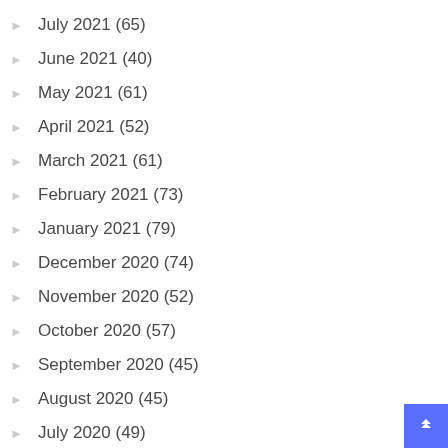July 2021 (65)
June 2021 (40)
May 2021 (61)
April 2021 (52)
March 2021 (61)
February 2021 (73)
January 2021 (79)
December 2020 (74)
November 2020 (52)
October 2020 (57)
September 2020 (45)
August 2020 (45)
July 2020 (49)